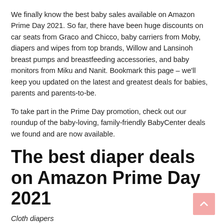We finally know the best baby sales available on Amazon Prime Day 2021. So far, there have been huge discounts on car seats from Graco and Chicco, baby carriers from Moby, diapers and wipes from top brands, Willow and Lansinoh breast pumps and breastfeeding accessories, and baby monitors from Miku and Nanit. Bookmark this page – we'll keep you updated on the latest and greatest deals for babies, parents and parents-to-be.
To take part in the Prime Day promotion, check out our roundup of the baby-loving, family-friendly BabyCenter deals we found and are now available.
The best diaper deals on Amazon Prime Day 2021
Cloth diapers
Disposable diapers